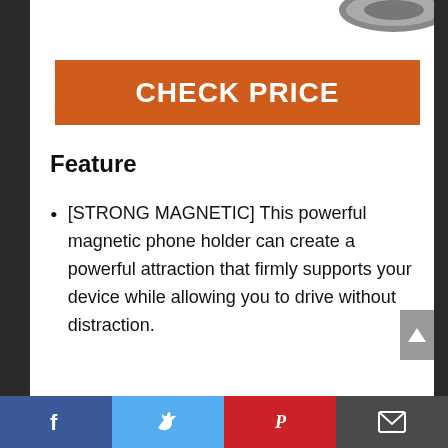[Figure (photo): Partial product image of a magnetic phone holder at top of page]
CHECK PRICE
Feature
[STRONG MAGNETIC] This powerful magnetic phone holder can create a powerful attraction that firmly supports your device while allowing you to drive without distraction.
[SUPER STICK FORCE] VHB adhesive provides strong stick force between the dashboard and the car
Social share bar: Facebook, Twitter, Pinterest, Email